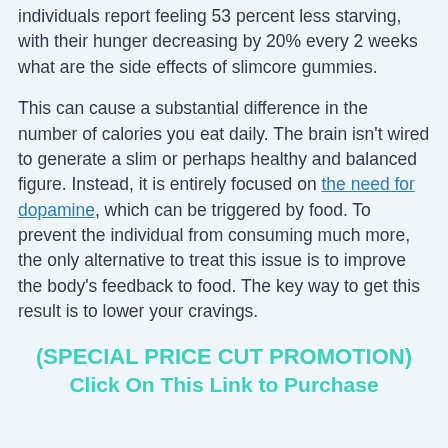individuals report feeling 53 percent less starving, with their hunger decreasing by 20% every 2 weeks what are the side effects of slimcore gummies.
This can cause a substantial difference in the number of calories you eat daily. The brain isn't wired to generate a slim or perhaps healthy and balanced figure. Instead, it is entirely focused on the need for dopamine, which can be triggered by food. To prevent the individual from consuming much more, the only alternative to treat this issue is to improve the body's feedback to food. The key way to get this result is to lower your cravings.
(SPECIAL PRICE CUT PROMOTION) Click On This Link to Purchase